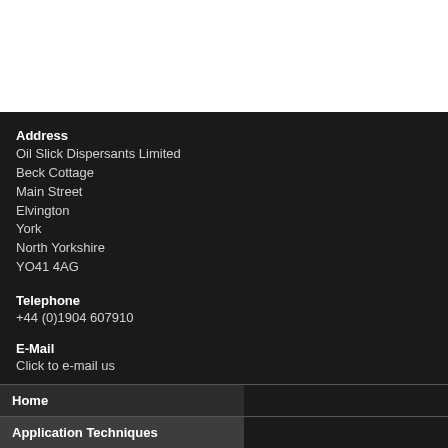[Figure (other): White blank area at top of page]
Address
Oil Slick Dispersants Limited
Beck Cottage
Main Street
Elvington
York
North Yorkshire
YO41 4AG
Telephone
+44 (0)1904 607910
E-Mail
Click to e-mail us
Home
Application Techniques